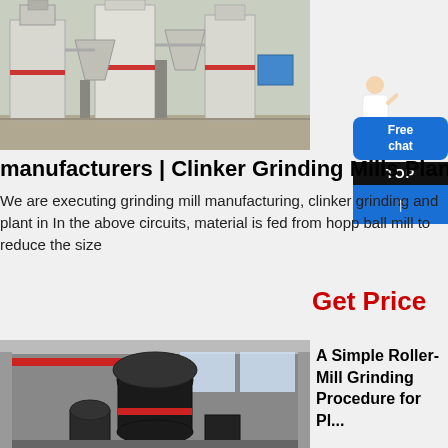[Figure (photo): Industrial grinding mill plant with vertical roller mills and dust collection systems in a facility]
manufacturers | Clinker Grinding Mills Plant
We are executing grinding mill manufacturing, clinker grinding and plant in In the above circuits, material is fed from hopper ball mill to reduce the size
Get Price
A Simple Roller-Mill Grinding Procedure for
[Figure (photo): Large roller mill grinding machine in a factory/warehouse setting]